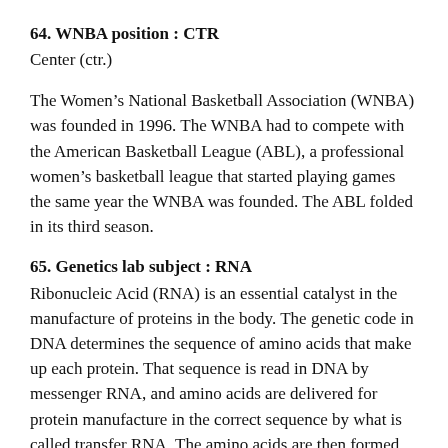64. WNBA position : CTR
Center (ctr.)
The Women’s National Basketball Association (WNBA) was founded in 1996. The WNBA had to compete with the American Basketball League (ABL), a professional women’s basketball league that started playing games the same year the WNBA was founded. The ABL folded in its third season.
65. Genetics lab subject : RNA
Ribonucleic Acid (RNA) is an essential catalyst in the manufacture of proteins in the body. The genetic code in DNA determines the sequence of amino acids that make up each protein. That sequence is read in DNA by messenger RNA, and amino acids are delivered for protein manufacture in the correct sequence by what is called transfer RNA. The amino acids are then formed into